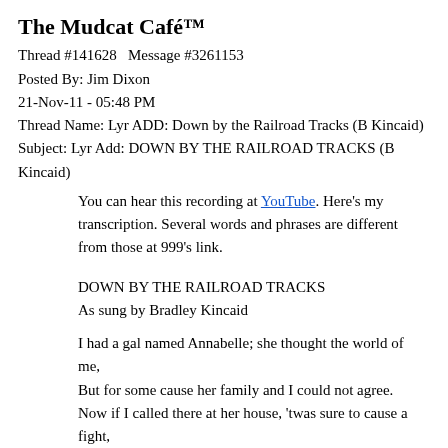The Mudcat Café™
Thread #141628   Message #3261153
Posted By: Jim Dixon
21-Nov-11 - 05:48 PM
Thread Name: Lyr ADD: Down by the Railroad Tracks (B Kincaid)
Subject: Lyr Add: DOWN BY THE RAILROAD TRACKS (B Kincaid)
You can hear this recording at YouTube. Here's my transcription. Several words and phrases are different from those at 999's link.
DOWN BY THE RAILROAD TRACKS
As sung by Bradley Kincaid
I had a gal named Annabelle; she thought the world of me,
But for some cause her family and I could not agree.
Now if I called there at her house, 'twas sure to cause a fight,
And for that reason, we would take a walk each Wednesday night